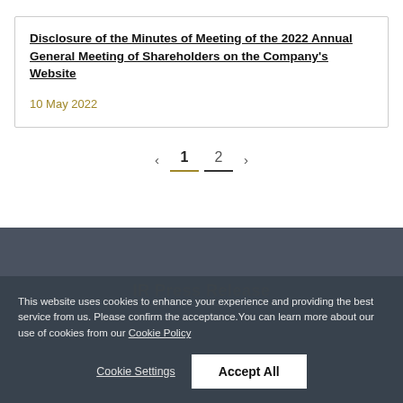Disclosure of the Minutes of Meeting of the 2022 Annual General Meeting of Shareholders on the Company's Website
10 May 2022
< 1 2 >
IR Press Release
This website uses cookies to enhance your experience and providing the best service from us. Please confirm the acceptance.You can learn more about our use of cookies from our Cookie Policy
Cookie Settings  Accept All